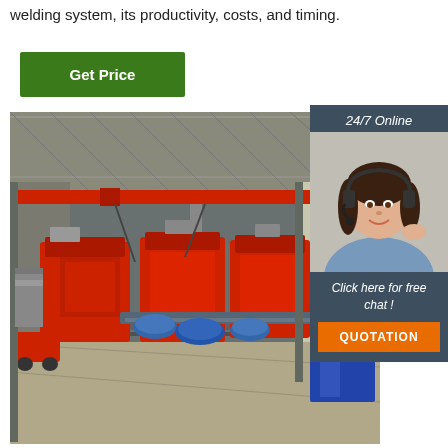welding system, its productivity, costs, and timing.
[Figure (other): Green 'Get Price' button]
[Figure (photo): Factory interior showing large red industrial cutting/welding machines on a production line inside a steel-frame warehouse with overhead red crane beam. Blue pipe fittings visible in foreground.]
[Figure (infographic): Sidebar widget with dark blue-grey background showing '24/7 Online' label, photo of smiling female customer service agent wearing headset, text 'Click here for free chat!' and orange 'QUOTATION' button.]